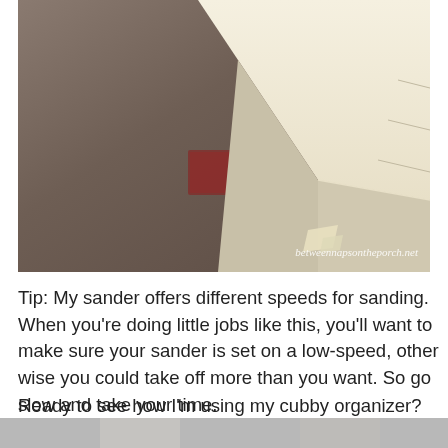[Figure (photo): Close-up photograph of a piece of furniture being sanded, showing a white/cream painted corner of what appears to be a cubby organizer on a brown/grey floor with a small piece of sandpaper nearby. Watermark reads 'betweennapsontheporch.net'.]
Tip: My sander offers different speeds for sanding. When you're doing little jobs like this, you'll want to make sure your sander is set on a low-speed, other wise you could take off more than you want. So go slow and take your time.
Ready to see how I'm using my cubby organizer? Hint: It didn't end up in the office, at least not yet.
[Figure (photo): Partial bottom photograph, cropped, showing a light grey surface (bottom of page, partially visible).]